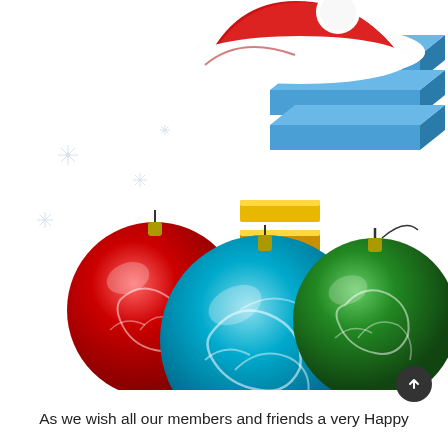[Figure (illustration): Christmas holiday illustration featuring a 3D SNJU logo (blue and gold stacked blocks resembling a stylized 'S' shape with gold horizontal bars and blue vertical slabs) wearing a red Santa hat with white trim and pompom, surrounded by decorative snowflakes on the left side, and three large Christmas ornament balls at the bottom: a red ball on the left, a blue/teal ball in the center-bottom, and a green ball on the right, all decorated with white swirl patterns.]
As we wish all our members and friends a very Happy